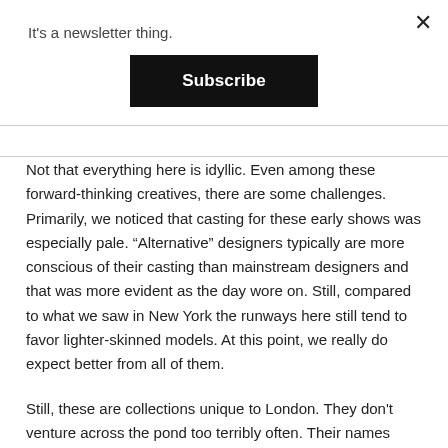It's a newsletter thing.
Subscribe
Not that everything here is idyllic. Even among these forward-thinking creatives, there are some challenges. Primarily, we noticed that casting for these early shows was especially pale. “Alternative” designers typically are more conscious of their casting than mainstream designers and that was more evident as the day wore on. Still, compared to what we saw in New York the runways here still tend to favor lighter-skinned models. At this point, we really do expect better from all of them.
Still, these are collections unique to London. They don't venture across the pond too terribly often. Their names aren't especially well known outside the most dedicated fashion fans. Department store buyers frequently ignore these shows. Londoners don't mind, that just means more seats for them, seats they snatch up.